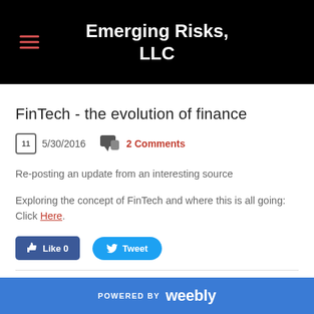Emerging Risks, LLC
FinTech - the evolution of finance
5/30/2016   2 Comments
Re-posting an update from an interesting source
Exploring the concept of FinTech and where this is all going: Click Here.
[Figure (other): Like 0 and Tweet social sharing buttons]
POWERED BY weebly